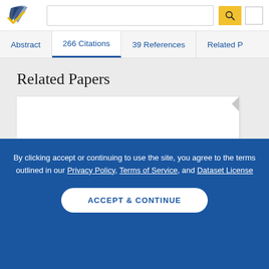Semantic Scholar — search bar and navigation
Abstract | 266 Citations | 39 References | Related P
Related Papers
[Figure (screenshot): A blank white paper card with a folded corner in the top right]
By clicking accept or continuing to use the site, you agree to the terms outlined in our Privacy Policy, Terms of Service, and Dataset License
ACCEPT & CONTINUE